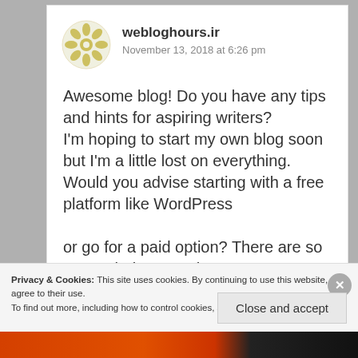webloghours.ir
November 13, 2018 at 6:26 pm
Awesome blog! Do you have any tips and hints for aspiring writers?
I'm hoping to start my own blog soon but I'm a little lost on everything.
Would you advise starting with a free platform like WordPress
or go for a paid option? There are so many choices out there
Privacy & Cookies: This site uses cookies. By continuing to use this website, you agree to their use.
To find out more, including how to control cookies, see here: Cookie Policy
Close and accept